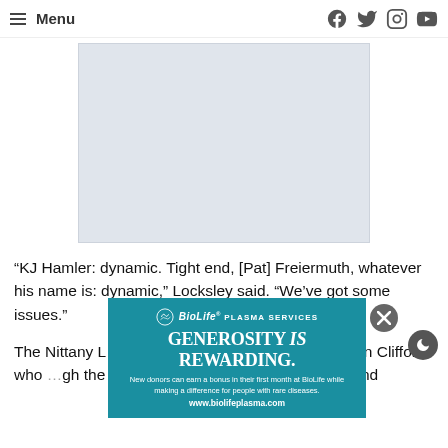Menu | [social icons: Facebook, Twitter, Instagram, YouTube]
[Figure (other): Light gray rectangular advertisement placeholder image area]
“KJ Hamler: dynamic. Tight end, [Pat] Freiermuth, whatever his name is: dynamic,” Locksley said. “We’ve got some issues.”
The Nittany L… anymore, but they have … ack, Sean Clifford, who … gh the a… nd there’s wideouter… ky Slade and
[Figure (other): BioLife Plasma Services advertisement overlay. Teal background with logo, tagline 'GENEROSITY is REWARDING.' and text 'New donors can earn a bonus in their first month at BioLife while making a difference for people with rare diseases. www.biolifeplasma.com']